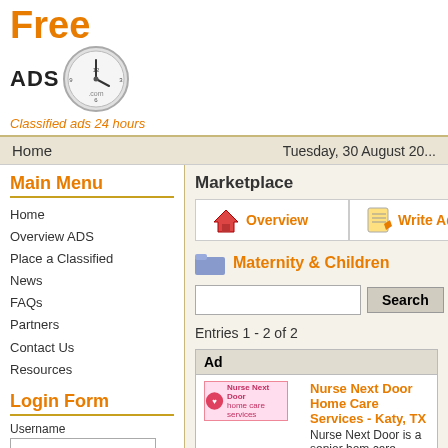[Figure (logo): FreeADS24.com logo with clock graphic and tagline 'Classified ads 24 hours']
Home   Tuesday, 30 August 20...
Main Menu
Home
Overview ADS
Place a Classified
News
FAQs
Partners
Contact Us
Resources
Login Form
Username
Password
Remember me
Login
Lost Password?
No account yet? Register
Marketplace
Overview
Write Ad
Maternity & Children
Entries 1 - 2 of 2
| Ad |
| --- |
| Nurse Next Door Home Care Services - Katy, TX  Nurse Next Door is a senior home care service with heart. Our kind caregivers make lives better for ... |
| Looking for Fort Worth... |